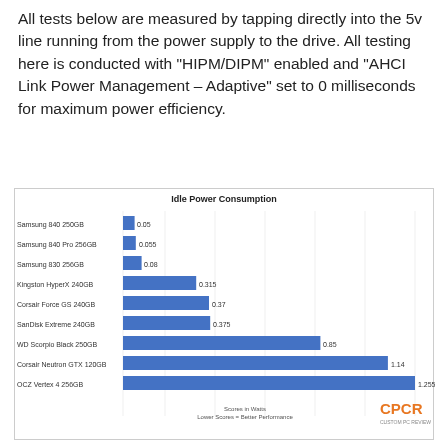All tests below are measured by tapping directly into the 5v line running from the power supply to the drive. All testing here is conducted with “HIPM/DIPM” enabled and “AHCI Link Power Management – Adaptive” set to 0 milliseconds for maximum power efficiency.
[Figure (bar-chart): Idle Power Consumption]